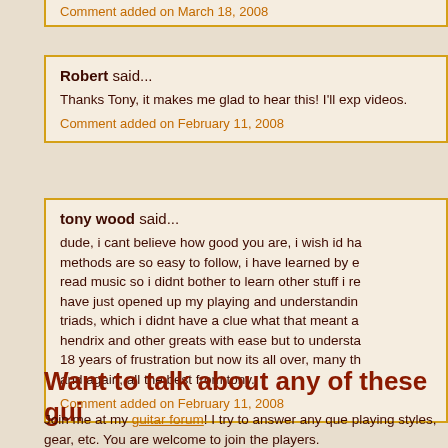Comment added on March 18, 2008
Robert said...
Thanks Tony, it makes me glad to hear this! I'll exp videos.
Comment added on February 11, 2008
tony wood said...
dude, i cant believe how good you are, i wish id ha methods are so easy to follow, i have learned by e read music so i didnt bother to learn other stuff i re have just opened up my playing and understandin triads, which i didnt have a clue what that meant a hendrix and other greats with ease but to understa 18 years of frustration but now its all over, many th and again, all the best from tony.
Comment added on February 11, 2008
Want to talk about any of these gui
Join me at my guitar forum! I try to answer any que playing styles, gear, etc. You are welcome to join the players.